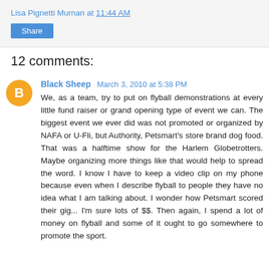Lisa Pignetti Murnan at 11:44 AM
Share
12 comments:
Black Sheep March 3, 2010 at 5:38 PM
We, as a team, try to put on flyball demonstrations at every little fund raiser or grand opening type of event we can. The biggest event we ever did was not promoted or organized by NAFA or U-Fli, but Authority, Petsmart's store brand dog food. That was a halftime show for the Harlem Globetrotters. Maybe organizing more things like that would help to spread the word. I know I have to keep a video clip on my phone because even when I describe flyball to people they have no idea what I am talking about. I wonder how Petsmart scored their gig... I'm sure lots of $$. Then again, I spend a lot of money on flyball and some of it ought to go somewhere to promote the sport.